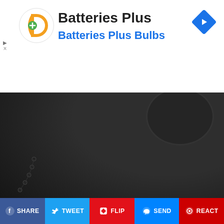[Figure (screenshot): Batteries Plus advertisement banner with orange logo, company name in black, subtitle 'Batteries Plus Bulbs' in blue, and blue diamond navigation arrow icon on right]
[Figure (photo): Dark textured background photo with 'JUSTIC' text in red on bottom right corner and dark circular object at top right, with collapse arrow button]
Camp Lejeune Contamination Free Case Evaluation
Trulaw
Learn More
[Figure (photo): Photo of Marine Corps Base Camp Lejeune entrance sign - red sign with gold text reading WELCOME TO MARINE CORPS BASE CAMP LEJEUNE with military emblem, flanked by brick pillars]
SHARE  TWEET  FLIP  SEND  REACT